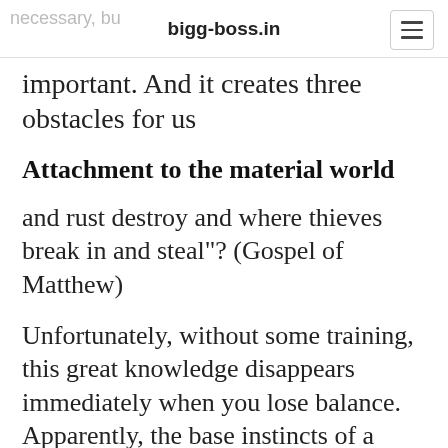bigg-boss.in
important. And it creates three obstacles for us
Attachment to the material world
and rust destroy and where thieves break in and steal"? (Gospel of Matthew)
Unfortunately, without some training, this great knowledge disappears immediately when you lose balance. Apparently, the base instincts of a person make him suddenly decide that his mobile phone, an umbrella